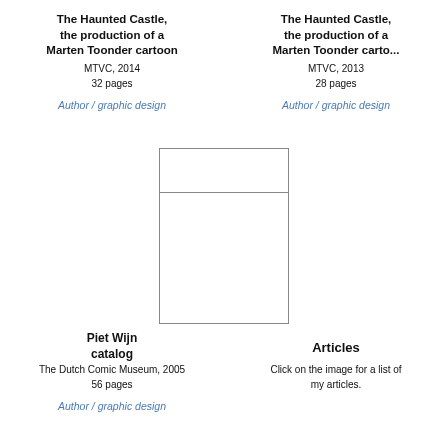The Haunted Castle, the production of a Marten Toonder cartoon
MTVC, 2014
32 pages
Author / graphic design
[Figure (other): Empty white image placeholder with border for The Haunted Castle 2014]
The Haunted Castle, the production of a Marten Toonder cartoon
MTVC, 2013
28 pages
Author / graphic design
[Figure (other): Empty white image placeholder with border for The Haunted Castle 2013]
Piet Wijn catalog
The Dutch Comic Museum, 2005
56 pages
Author / graphic design
Articles
Click on the image for a list of my articles.